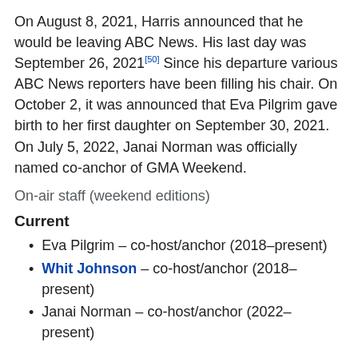On August 8, 2021, Harris announced that he would be leaving ABC News. His last day was September 26, 2021[50] Since his departure various ABC News reporters have been filling his chair. On October 2, it was announced that Eva Pilgrim gave birth to her first daughter on September 30, 2021. On July 5, 2022, Janai Norman was officially named co-anchor of GMA Weekend.
On-air staff (weekend editions)
Current
Eva Pilgrim – co-host/anchor (2018–present)
Whit Johnson – co-host/anchor (2018–present)
Janai Norman – co-host/anchor (2022–present)